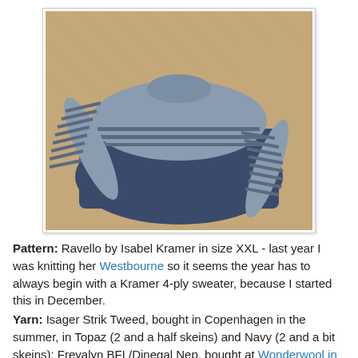[Figure (photo): A knitted sweater with grey and dark navy blue stripes on the sleeves and yoke, laid flat on a wooden herringbone floor. The sweater appears handmade with a round neck and striped raglan sleeves.]
Pattern: Ravello by Isabel Kramer in size XXL - last year I was knitting her Westbourne so it seems the year has to always begin with a Kramer 4-ply sweater, because I started this in December.
Yarn: Isager Strik Tweed, bought in Copenhagen in the summer, in Topaz (2 and a half skeins) and Navy (2 and a bit skeins); Freyalyn BFL/Dinegal Nep, bought at Wonderwool in 2014.
Needle: 2.5mm and 3mm.
Mods: Almost none. I didn't even knit a bigger top than